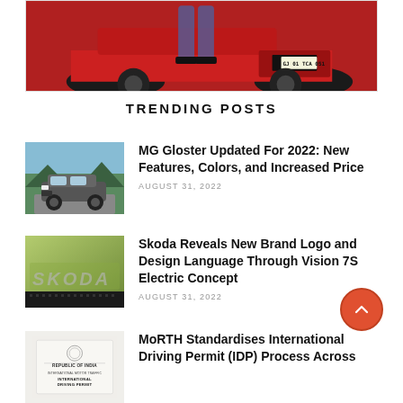[Figure (photo): Top portion of a red sports/performance car with a license plate reading 'GJ 01 TCA 051', person standing behind the car partially visible]
TRENDING POSTS
[Figure (photo): MG Gloster SUV parked on a mountain road, dark grey color, outdoor scenic background]
MG Gloster Updated For 2022: New Features, Colors, and Increased Price
AUGUST 31, 2022
[Figure (photo): Close-up of Skoda logo emblem on a green/olive colored car surface]
Skoda Reveals New Brand Logo and Design Language Through Vision 7S Electric Concept
AUGUST 31, 2022
[Figure (photo): International Driving Permit document from Republic of India with text 'REPUBLIC OF INDIA, INTERNATIONAL MOTOR TRAFFIC, INTERNATIONAL DRIVING PERMIT']
MoRTH Standardises International Driving Permit (IDP) Process Across